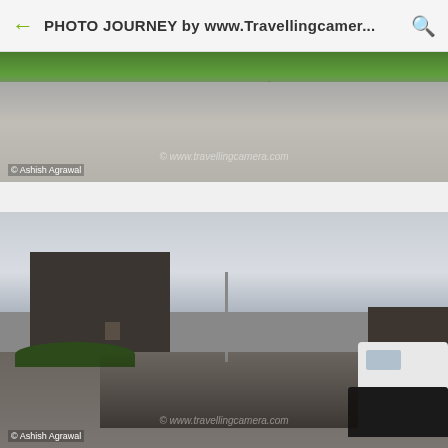PHOTO JOURNEY by www.Travellingcamer...
[Figure (photo): Outdoor scene showing a rocky cobblestone path with a grassy area and stones in the foreground, watermarked with © www.travellingcamera.com and © Ashish Agrawal]
[Figure (photo): Outdoor scene at a historic stone building with a large group of tourists walking on a cobblestone path, a white van parked on the right, overcast sky, watermarked with © www.travellingcamera.com and © Ashish Agrawal]